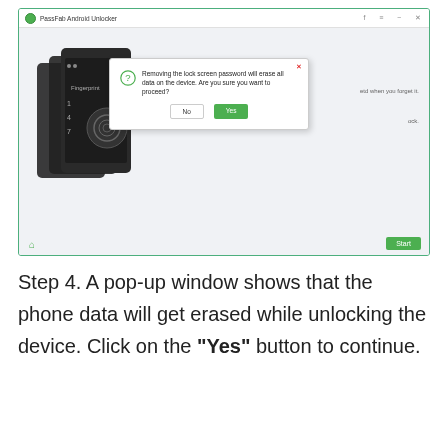[Figure (screenshot): Screenshot of PassFab Android Unlocker application showing a pop-up dialog warning that removing the lock screen password will erase all data on the device, with 'No' and 'Yes' buttons. The app interface shows phone silhouette graphics and a Start button in the bottom right.]
Step 4. A pop-up window shows that the phone data will get erased while unlocking the device. Click on the "Yes" button to continue.